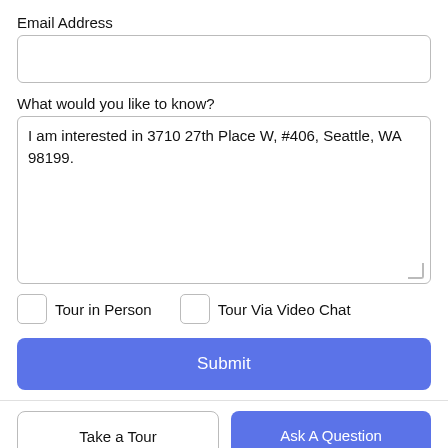Email Address
What would you like to know?
I am interested in 3710 27th Place W, #406, Seattle, WA 98199.
Tour in Person
Tour Via Video Chat
Submit
Take a Tour
Ask A Question